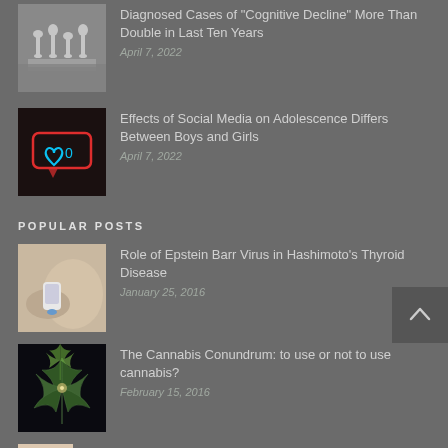[Figure (photo): Chess pieces on a chessboard, black and white photo]
Diagnosed Cases of “Cognitive Decline” More Than Double in Last Ten Years
April 7, 2022
[Figure (photo): Neon social media like/heart icon sign on dark background]
Effects of Social Media on Adolescence Differs Between Boys and Girls
April 7, 2022
POPULAR POSTS
[Figure (photo): Close-up of person applying something to skin, medical/thyroid related]
Role of Epstein Barr Virus in Hashimoto’s Thyroid Disease
January 25, 2016
[Figure (photo): Cannabis flower/plant illustration on dark background]
The Cannabis Conundrum: to use or not to use cannabis?
February 15, 2016
[Figure (photo): Person receiving vaccine injection]
So You Think Vaccines are Safe? Think Again